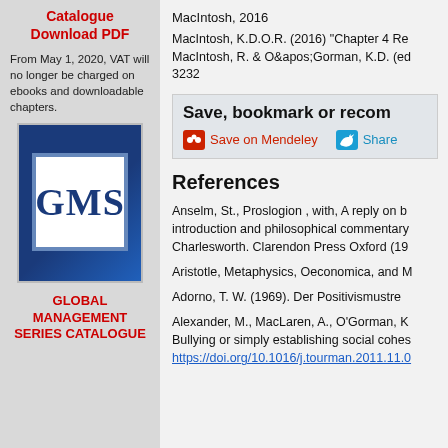Catalogue
Download PDF
From May 1, 2020, VAT will no longer be charged on ebooks and downloadable chapters.
[Figure (logo): GMS Global Management Series Catalogue book cover logo — blue book with GMS lettering in white]
GLOBAL MANAGEMENT SERIES CATALOGUE
MacIntosh, 2016
MacIntosh, K.D.O.R. (2016) "Chapter 4 Re MacIntosh, R. & O&apos;Gorman, K.D. (ed 3232
Save, bookmark or recom
Save on Mendeley   Share
References
Anselm, St., Proslogion , with, A reply on b introduction and philosophical commentary Charlesworth. Clarendon Press Oxford (19
Aristotle, Metaphysics, Oeconomica, and M
Adorno, T. W. (1969). Der Positivismustre
Alexander, M., MacLaren, A., O'Gorman, K Bullying or simply establishing social cohes https://doi.org/10.1016/j.tourman.2011.11.0